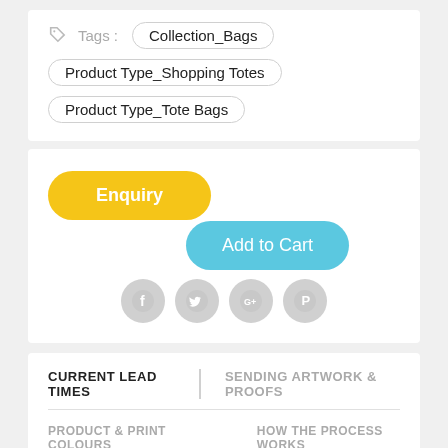Tags : Collection_Bags
Product Type_Shopping Totes
Product Type_Tote Bags
[Figure (screenshot): Enquiry button (yellow/gold, rounded) and Add to Cart button (light blue, rounded), plus social media icons (Facebook, Twitter, Google+, Pinterest) in grey circles]
CURRENT LEAD TIMES  SENDING ARTWORK & PROOFS
PRODUCT & PRINT COLOURS  HOW THE PROCESS WORKS